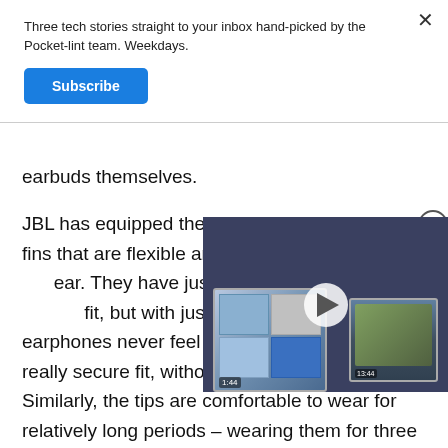Three tech stories straight to your inbox hand-picked by the Pocket-lint team. Weekdays.
Subscribe
earbuds themselves.
JBL has equipped the Everest Elite with in-ear fins that are flexible and easily m ear. They have just the right fit, but with just the right grip earphones never feel like th really secure fit, without ever feeling too snug. Similarly, the tips are comfortable to wear for relatively long periods – wearing them for three hours we didn't get uncomfortable at all
[Figure (screenshot): Embedded video player overlay showing two monitors/screens on a wooden desk against a blue wall, with a play button in the center. Timestamps show 1:44 and 13:44. A red power button icon is in the top right corner, and a close (X) button is at the top left of the video.]